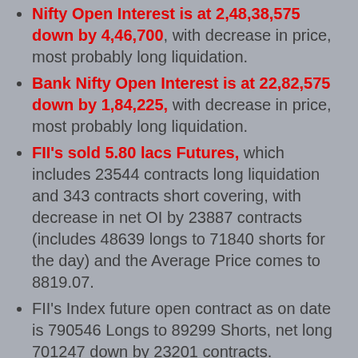Nifty Open Interest is at 2,48,38,575 down by 4,46,700, with decrease in price, most probably long liquidation.
Bank Nifty Open Interest is at 22,82,575 down by 1,84,225, with decrease in price, most probably long liquidation.
FII's sold 5.80 lacs Futures, which includes 23544 contracts long liquidation and 343 contracts short covering, with decrease in net OI by 23887 contracts (includes 48639 longs to 71840 shorts for the day) and the Average Price comes to 8819.07.
FII's Index future open contract as on date is 790546 Longs to 89299 Shorts, net long 701247 down by 23201 contracts.
Initial support still at 8700, with OI of 27.23 lacs and below that at 8600 with OI of 26.99 lacs.
Initial resistance at 8800, with OI of 27.74 lacs and above that at 8900 with OI of 32.88 lacs.
Day Range as per Option Table is 8652 - 8822